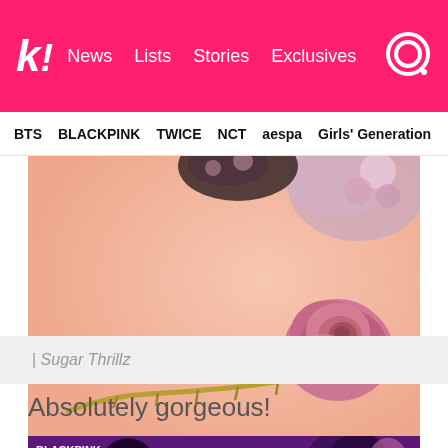k! News  Lists  Stories  Exclusives
BTS  BLACKPINK  TWICE  NCT  aespa  Girls' Generation
[Figure (photo): A pink/salmon colored background with a dried or wilted pink rose lying on its side with a long thorny stem, and partially visible decorative floral-patterned objects at the top.]
| Sugar Thrillz
Absolutely gorgeous!
[Figure (photo): Dark purple/violet background with what appears to be a person with dark hair and floral decorations, BLACKPINK logo visible in upper left.]